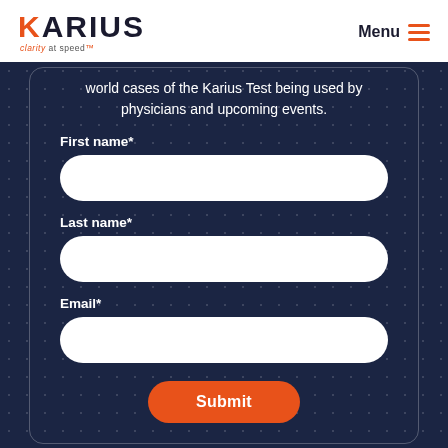KARIUS clarity at speed™  Menu ☰
world cases of the Karius Test being used by physicians and upcoming events.
First name*
Last name*
Email*
Submit